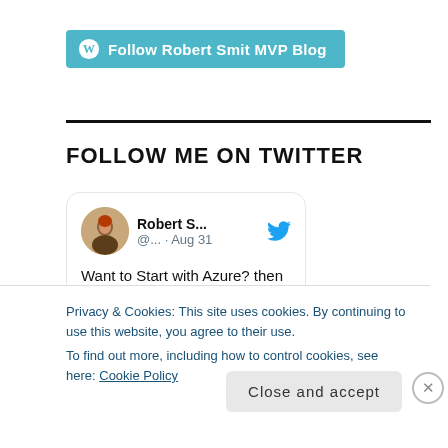[Figure (other): Follow Robert Smit MVP Blog button with WordPress icon on teal/cyan background]
FOLLOW ME ON TWITTER
[Figure (screenshot): Twitter/X widget card showing Robert S... profile (@...) with avatar photo, Twitter bird icon, date Aug 31, and tweet text: Want to Start with Azure? then Start with Cloud]
Privacy & Cookies: This site uses cookies. By continuing to use this website, you agree to their use.
To find out more, including how to control cookies, see here: Cookie Policy
Close and accept